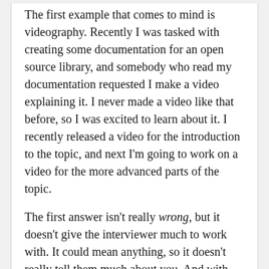The first example that comes to mind is videography. Recently I was tasked with creating some documentation for an open source library, and somebody who read my documentation requested I make a video explaining it. I never made a video like that before, so I was excited to learn about it. I recently released a video for the introduction to the topic, and next I'm going to work on a video for the more advanced parts of the topic.
The first answer isn't really wrong, but it doesn't give the interviewer much to work with. It could mean anything, so it doesn't really tell them much about you. And with only a limited amount of time to paint a picture of who you are, you want every answer to add something to that picture.
The second answer is another common approach I see a lot. You might be tempted to answer every question in a way that makes you seem like…